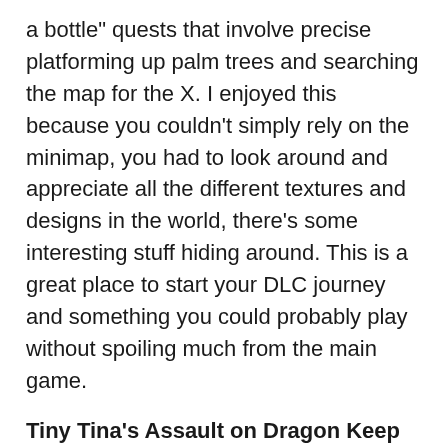a bottle" quests that involve precise platforming up palm trees and searching the map for the X. I enjoyed this because you couldn't simply rely on the minimap, you had to look around and appreciate all the different textures and designs in the world, there's some interesting stuff hiding around. This is a great place to start your DLC journey and something you could probably play without spoiling much from the main game.
Tiny Tina's Assault on Dragon Keep (recommended level 30-35)
This was the second one I played and once again takes a completely different twist. This is an entirely new adventure as Tina tells a story and you play this